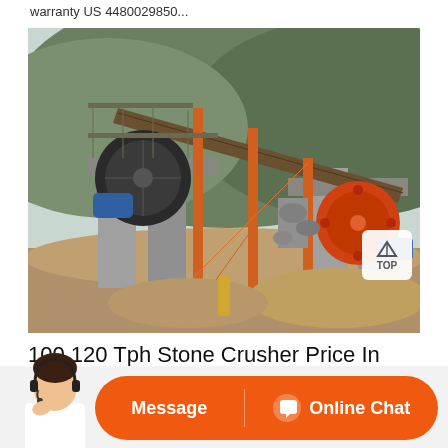warranty US 4480029850...
[Figure (photo): Industrial stone crusher plant with conveyor belts and machinery, concrete structures, orange steel framework, set against a hillside with rocks and trees in the background.]
100 120 Tph Stone Crusher Price In Malaysia
Message
Online Chat